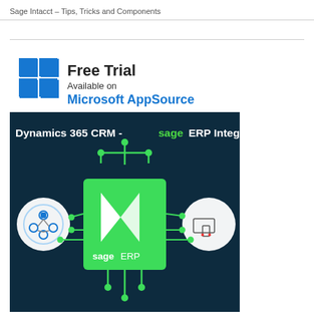Sage Intacct – Tips, Tricks and Components
[Figure (infographic): Promotional infographic for Dynamics 365 CRM - sage ERP Integration. Top section shows a white box with Microsoft logo grid icon and text 'Free Trial Available on Microsoft AppSource'. Below is a dark navy background with text 'Dynamics 365 CRM - sage ERP Integration'. Center shows a circuit-board style diagram with a green square chip containing the Dynamics 365 arrow logo and 'sage ERP' text, connected by green lines to circular icons on left (network/CRM icon) and right (multi-device icon).]